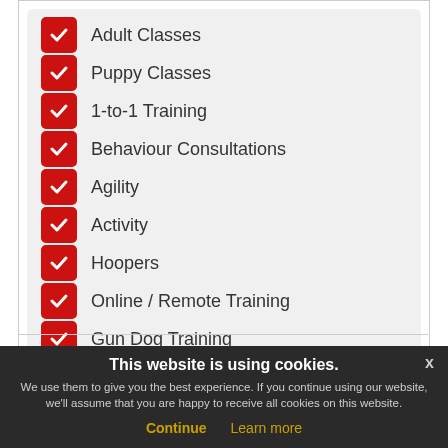Adult Classes
Puppy Classes
1-to-1 Training
Behaviour Consultations
Agility
Activity
Hoopers
Online / Remote Training
Gun Dog Training
Information
Accredited Education and Qualifications
Testimonials
This website is using cookies. We use them to give you the best experience. If you continue using our website, we'll assume that you are happy to receive all cookies on this website. Continue  Learn more